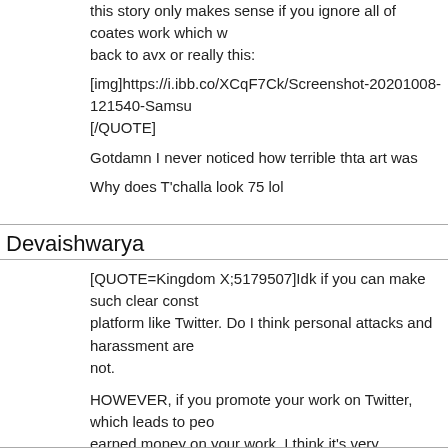this story only makes sense if you ignore all of coates work which w... back to avx or really this:
[img]https://i.ibb.co/XCqF7Ck/Screenshot-20201008-121540-Samsu... [/QUOTE]
Gotdamn I never noticed how terrible thta art was
Why does T'challa look 75 lol
Devaishwarya
[QUOTE=Kingdom X;5179507]Idk if you can make such clear const... platform like Twitter. Do I think personal attacks and harassment are... not.
HOWEVER, if you promote your work on Twitter, which leads to peo... earned money on your work, I think it's very reasonable for people t... platform and share how they felt about it.[/QUOTE]
I do miss the days of "when you have nothing good to say, say noth... Nowadays, everyone feels entitled to give a personal opinion regard... being wanted or warranted.